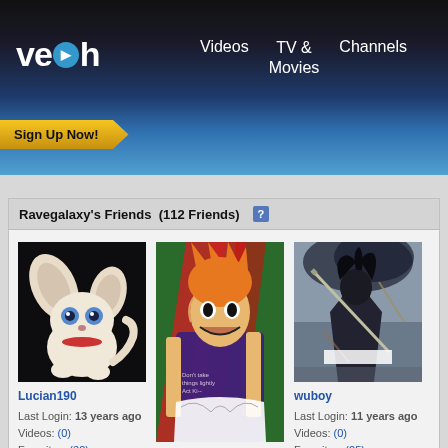[Figure (screenshot): Veoh website navigation bar with logo, Videos, TV & Movies, Channels links, and Sign Up Now button]
Ravegalaxy's Friends  (112 Friends)
[Figure (illustration): Lucian190 avatar - cartoon white bat/cat creature on dark background]
Lucian190
Last Login: 13 years ago
Videos: (0)
Favorites: (32)
Friends: (129)
[Figure (illustration): lazarin96 avatar - anime character with orange hair on green background]
lazarin96
Last Login: 10 years ago
Videos: (0)
Favorites: (258)
Friends: (2334)
[Figure (illustration): wuboy avatar - dark figure with sword on grey background]
wuboy
Last Login: 11 years ago
Videos: (0)
Favorites: (25)
Friends: (2662)